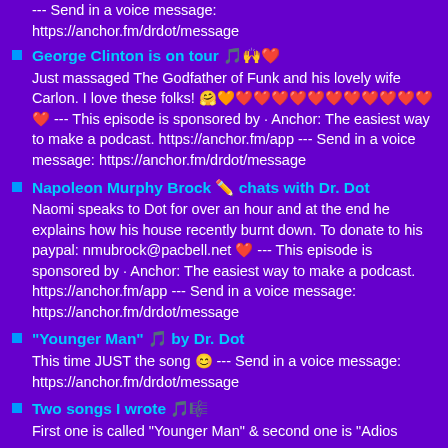--- Send in a voice message: https://anchor.fm/drdot/message
George Clinton is on tour 🎵🙌❤️
Just massaged The Godfather of Funk and his lovely wife Carlon. I love these folks! 🤗🧡❤️❤️❤️❤️❤️❤️❤️❤️❤️❤️❤️❤️ --- This episode is sponsored by · Anchor: The easiest way to make a podcast. https://anchor.fm/app --- Send in a voice message: https://anchor.fm/drdot/message
Napoleon Murphy Brock ✏️ chats with Dr. Dot
Naomi speaks to Dot for over an hour and at the end he explains how his house recently burnt down. To donate to his paypal: nmubrock@pacbell.net ❤️ --- This episode is sponsored by · Anchor: The easiest way to make a podcast. https://anchor.fm/app --- Send in a voice message: https://anchor.fm/drdot/message
"Younger Man" 🎵 by Dr. Dot
This time JUST the song 😊 --- Send in a voice message: https://anchor.fm/drdot/message
Two songs I wrote 🎵🎼
First one is called "Younger Man" & second one is "Adios